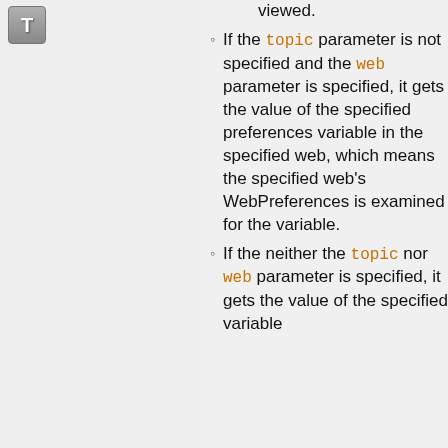[Figure (logo): Gray square icon with bold letter T]
viewed.
If the topic parameter is not specified and the web parameter is specified, it gets the value of the specified preferences variable in the specified web, which means the specified web's WebPreferences is examined for the variable.
If the neither the topic nor web parameter is specified, it gets the value of the specified variable